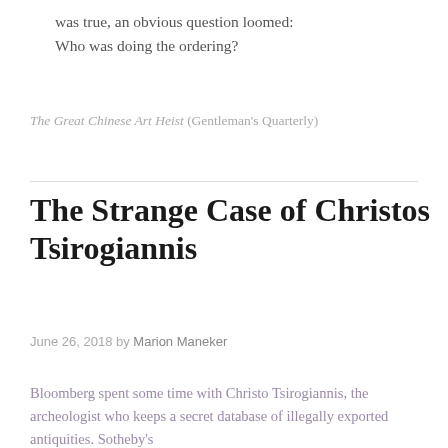was true, an obvious question loomed:
Who was doing the ordering?
The Great Chinese Art Heist (Gentleman's Quarterly)
The Strange Case of Christos Tsirogiannis
June 26, 2018 by Marion Maneker
Bloomberg spent some time with Christo Tsirogiannis, the archeologist who keeps a secret database of illegally exported antiquities. Sotheby's